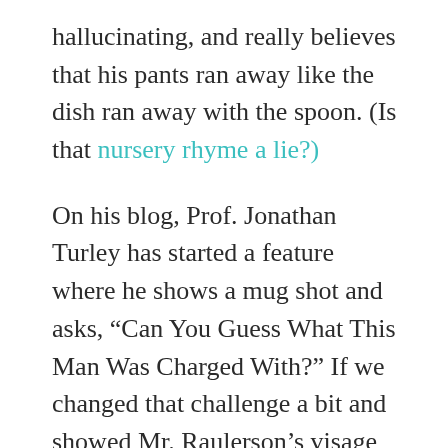hallucinating, and really believes that his pants ran away like the dish ran away with the spoon. (Is that nursery rhyme a lie?)

On his blog, Prof. Jonathan Turley has started a feature where he shows a mug shot and asks, “Can You Guess What This Man Was Charged With?” If we changed that challenge a bit and showed Mr. Raulerson’s visage with the question, “Would This Man Believe That His Pants